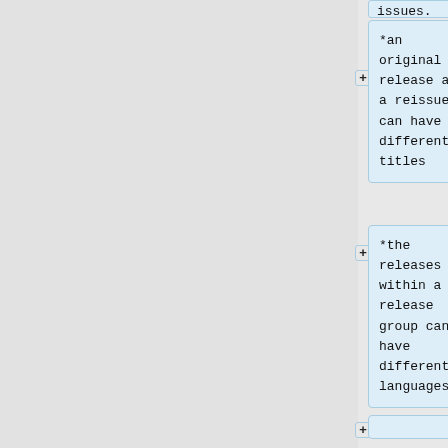issues.
*an original release and a reissue can have different titles
*the releases within a release group can have different languages
===Original